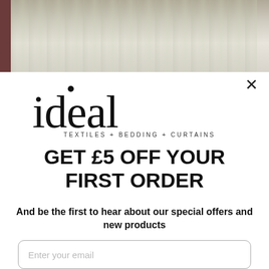[Figure (photo): Top banner showing curtains with floral/botanical pattern in muted green and cream tones, with a dark burgundy curtain on the left edge]
[Figure (logo): Ideal Textiles logo: 'ideal' in large serif font with a dot above the 'i', and 'TEXTILES + BEDDING + CURTAINS' in small spaced capitals below]
GET £5 OFF YOUR FIRST ORDER
And be the first to hear about our special offers and new products
Enter your email